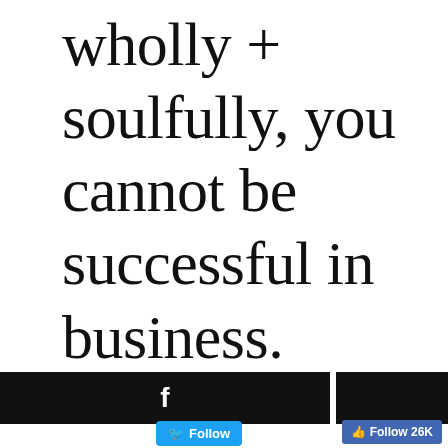wholly + soulfully, you cannot be successful in business.
[Figure (screenshot): Social media footer bar with Facebook icon bar on left, Twitter Follow button below it, a dark bar on the right with Facebook Follow 26K button]